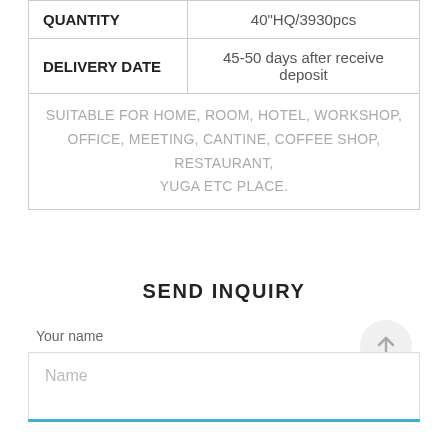| QUANTITY | 40"HQ/3930pcs |
| DELIVERY DATE | 45-50 days after receive deposit |
| SUITABLE FOR HOME, ROOM, HOTEL, WORKSHOP, OFFICE, MEETING, CANTINE, COFFEE SHOP, RESTAURANT, YUGA ETC PLACE. |  |
SEND INQUIRY
Your name
Name